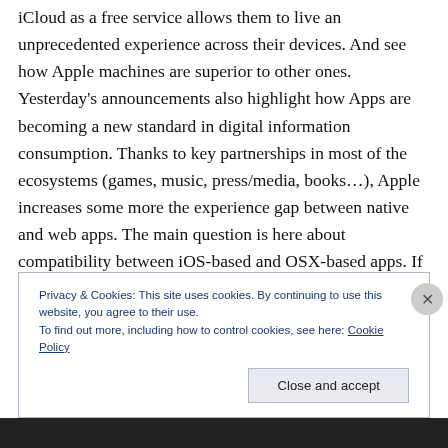iCloud as a free service allows them to live an unprecedented experience across their devices. And see how Apple machines are superior to other ones. Yesterday's announcements also highlight how Apps are becoming a new standard in digital information consumption. Thanks to key partnerships in most of the ecosystems (games, music, press/media, books…), Apple increases some more the experience gap between native and web apps. The main question is here about compatibility between iOS-based and OSX-based apps. If confirmed, this will have a huge impact on attractivity of
Privacy & Cookies: This site uses cookies. By continuing to use this website, you agree to their use. To find out more, including how to control cookies, see here: Cookie Policy
Close and accept